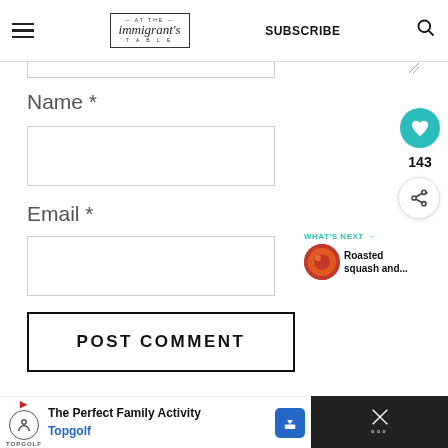— AT THE — immigrant's TABLE · SUBSCRIBE
Name *
Email *
POST COMMENT
143
WHAT'S NEXT → Roasted squash and...
The Perfect Family Activity Topgolf